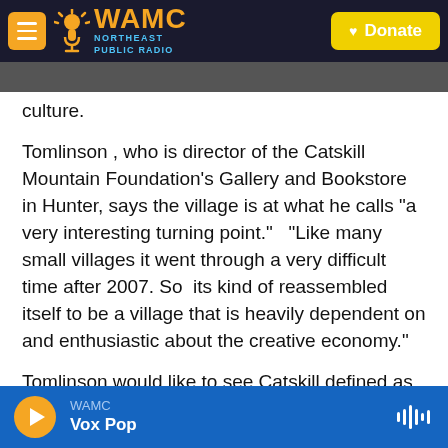[Figure (screenshot): WAMC Northeast Public Radio navigation bar with orange menu button, WAMC logo, and yellow Donate button]
culture.
Tomlinson , who is director of the Catskill Mountain Foundation's Gallery and Bookstore in Hunter, says the village is at what he calls "a very interesting turning point."  "Like many small villages it went through a very difficult time after 2007. So  its kind of reassembled itself to be a village that is heavily dependent on and enthusiastic about the creative economy."
Tomlinson would like to see Catskill defined as "a village of makers." He foresees an arts district, with
WAMC Vox Pop